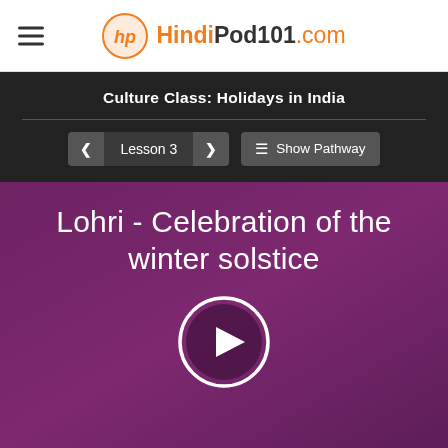HindiPod101.com
Culture Class: Holidays in India
Lesson 3
Show Pathway
Lohri - Celebration of the winter solstice
[Figure (other): Play button circle for video lesson]
Learn all about Lohri, celebration of the winter